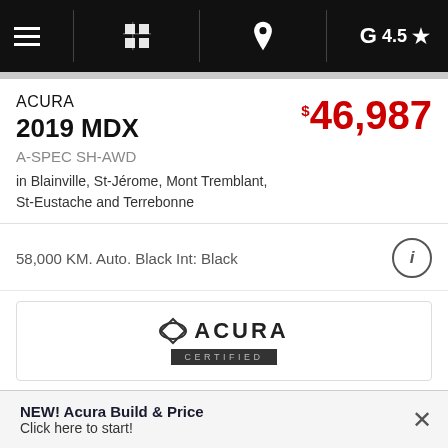Navigation bar with menu, building icon, location pin, G 4.5 star rating
ACURA 2019 MDX
A-SPEC SH-AWD
in Blainville, St-Jérome, Mont Tremblant, St-Eustache and Terrebonne
$46,987
58,000 KM. Auto. Black Int: Black
[Figure (logo): Acura Certified badge logo]
[Figure (photo): Partially visible dealership building photo]
NEW! Acura Build & Price
Click here to start!